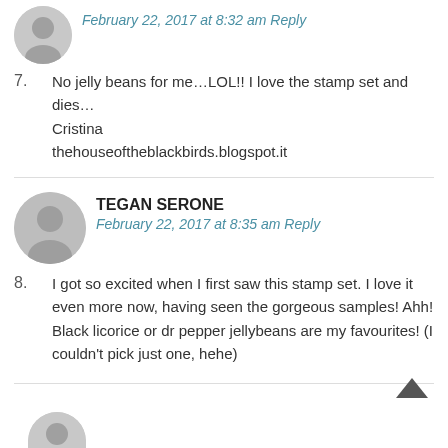[Figure (illustration): Grey circular avatar placeholder with user silhouette icon, partially visible at top]
February 22, 2017 at 8:32 am Reply
7. No jelly beans for me…LOL!! I love the stamp set and dies…
Cristina
thehouseoftheblackbirds.blogspot.it
[Figure (illustration): Grey circular avatar placeholder with user silhouette icon]
TEGAN SERONE
February 22, 2017 at 8:35 am Reply
8. I got so excited when I first saw this stamp set. I love it even more now, having seen the gorgeous samples! Ahh!
Black licorice or dr pepper jellybeans are my favourites! (I couldn't pick just one, hehe)
[Figure (illustration): Partial grey circular avatar placeholder at bottom of page]
[Figure (illustration): Scroll-to-top chevron arrow icon]